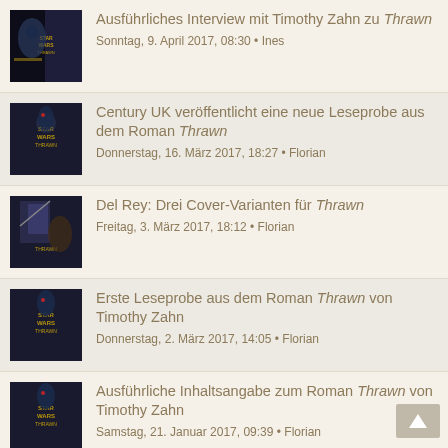Ausführliches Interview mit Timothy Zahn zu Thrawn • Sonntag, 9. April 2017, 08:30 • Ines
Century UK veröffentlicht eine neue Leseprobe aus dem Roman Thrawn • Donnerstag, 16. März 2017, 18:27 • Florian
Del Rey: Drei Cover-Varianten für Thrawn • Freitag, 3. März 2017, 18:12 • Florian
Erste Leseprobe aus dem Roman Thrawn von Timothy Zahn • Donnerstag, 2. März 2017, 14:05 • Florian
Ausführliche Inhaltsangabe zum Roman Thrawn von Timothy Zahn • Samstag, 21. Januar 2017, 09:39 • Florian